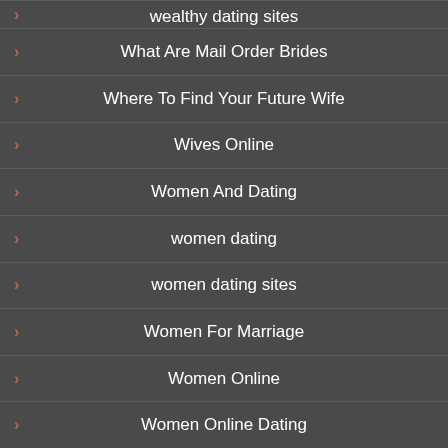wealthy dating sites
What Are Mail Order Brides
Where To Find Your Future Wife
Wives Online
Women And Dating
women dating
women dating sites
Women For Marriage
Women Online
Women Online Dating